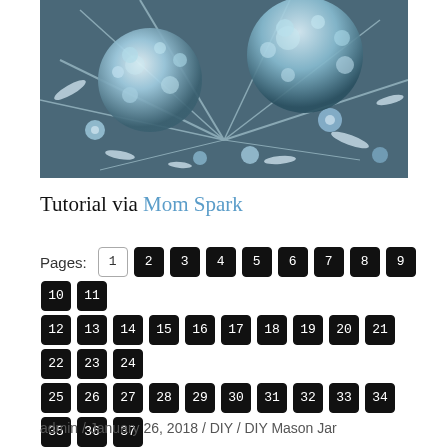[Figure (photo): Photo of glass marble/crystal ball decorative items with light reflections on a dark surface]
Tutorial via Mom Spark
Pages: 1 2 3 4 5 6 7 8 9 10 11 12 13 14 15 16 17 18 19 20 21 22 23 24 25 26 27 28 29 30 31 32 33 34 35 36 37 38 39 40 41 42 43 44 45 46 47 48 49 50 51 52 53 54 55 56 57 58
admin / January 26, 2018 / DIY / DIY Mason Jar